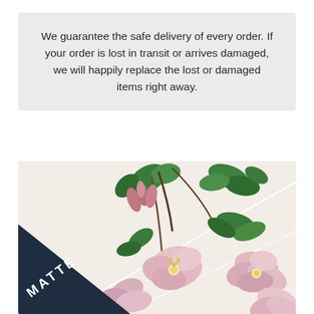We guarantee the safe delivery of every order. If your order is lost in transit or arrives damaged, we will happily replace the lost or damaged items right away.
[Figure (photo): Close-up photo of a printed item (poster or card) with botanical floral illustration showing pink cherry blossoms and green leaves on a light background. The bottom-left corner shows a dark navy diagonal band with the word MATTE in white bold letters, indicating the print finish.]